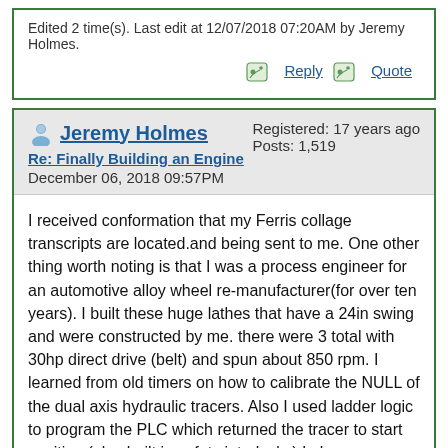Edited 2 time(s). Last edit at 12/07/2018 07:20AM by Jeremy Holmes.
Reply   Quote
Jeremy Holmes
Re: Finally Building an Engine
December 06, 2018 09:57PM
Registered: 17 years ago
Posts: 1,519
I received conformation that my Ferris collage transcripts are located.and being sent to me. One other thing worth noting is that I was a process engineer for an automotive alloy wheel re-manufacturer(for over ten years). I built these huge lathes that have a 24in swing and were constructed by me. there were 3 total with 30hp direct drive (belt) and spun about 850 rpm. I learned from old timers on how to calibrate the NULL of the dual axis hydraulic tracers. Also I used ladder logic to program the PLC which returned the tracer to start position.(also built in safety interlocks) I also assembled the drawbar to 12in chuck tongue and groove master